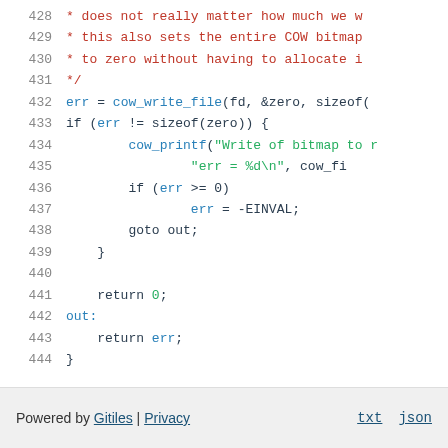Code listing lines 428-444: C source code with syntax highlighting
Powered by Gitiles | Privacy   txt  json